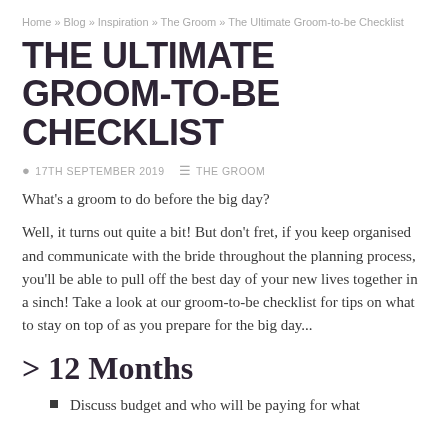Home » Blog » Inspiration » The Groom » The Ultimate Groom-to-be Checklist
THE ULTIMATE GROOM-TO-BE CHECKLIST
17TH SEPTEMBER 2019   THE GROOM
What's a groom to do before the big day?
Well, it turns out quite a bit! But don't fret, if you keep organised and communicate with the bride throughout the planning process, you'll be able to pull off the best day of your new lives together in a sinch! Take a look at our groom-to-be checklist for tips on what to stay on top of as you prepare for the big day...
> 12 Months
Discuss budget and who will be paying for what